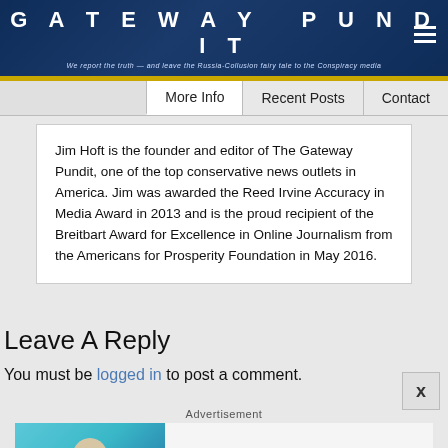GATEWAY PUNDIT — We report the truth — and leave the Russia-Collusion fairy tale to the Conspiracy media
More Info | Recent Posts | Contact
Jim Hoft is the founder and editor of The Gateway Pundit, one of the top conservative news outlets in America. Jim was awarded the Reed Irvine Accuracy in Media Award in 2013 and is the proud recipient of the Breitbart Award for Excellence in Online Journalism from the Americans for Prosperity Foundation in May 2016.
Leave A Reply
You must be logged in to post a comment.
Advertisement
[Figure (photo): Advertisement showing a man in a white shirt with sunglasses against a blue ocean/sky background, next to text: '6 Most Loved And Handsome Men In Indian Cinema' — Herbeauty]